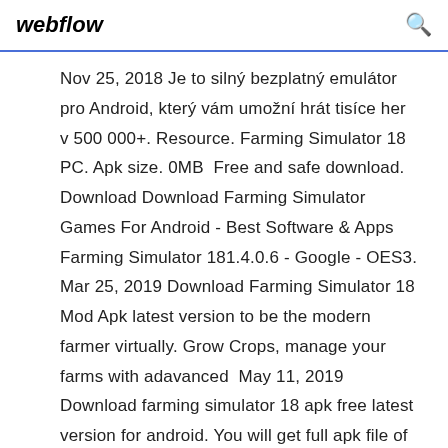webflow
Nov 25, 2018 Je to silný bezplatný emulátor pro Android, který vám umožní hrát tisíce her v 500 000+. Resource. Farming Simulator 18 PC. Apk size. 0MB Free and safe download. Download Download Farming Simulator Games For Android - Best Software & Apps Farming Simulator 181.4.0.6 - Google - OES3. Mar 25, 2019 Download Farming Simulator 18 Mod Apk latest version to be the modern farmer virtually. Grow Crops, manage your farms with adavanced May 11, 2019 Download farming simulator 18 apk free latest version for android. You will get full apk file of farming simulator 18 for free of cost. Farming Simulator 18 Mod: 100% working on 560 devices, voted by 387.